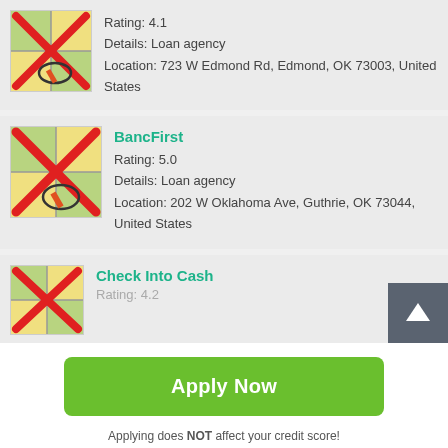[Figure (screenshot): Map icon with red X overlay, first listing (partial, top of page)]
Rating: 4.1
Details: Loan agency
Location: 723 W Edmond Rd, Edmond, OK 73003, United States
[Figure (screenshot): Map icon with red X overlay for BancFirst listing]
BancFirst
Rating: 5.0
Details: Loan agency
Location: 202 W Oklahoma Ave, Guthrie, OK 73044, United States
[Figure (screenshot): Map icon with red X overlay for Check Into Cash listing]
Check Into Cash
Rating: 4.2
Apply Now
Applying does NOT affect your credit score!
No credit check to apply.